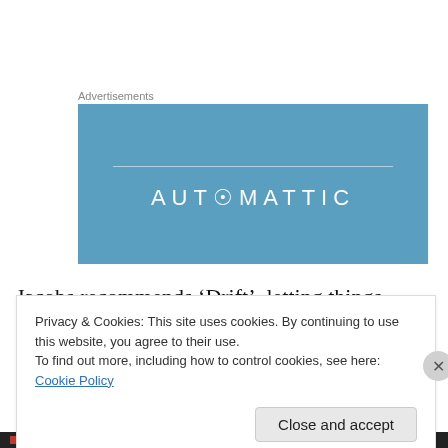Advertisements
[Figure (logo): Automattic advertisement banner - blue background with AUTOMATTIC text in white letters and a horizontal line above]
Jacobs recommends ‘Drift’, letting things happen rather than over-planning. Her final chapter on the subject of ‘Drift’ emphasises the role of playfulness, invention and serendipity. Gunpowder was invented by the Chinese for
Privacy & Cookies: This site uses cookies. By continuing to use this website, you agree to their use.
To find out more, including how to control cookies, see here: Cookie Policy